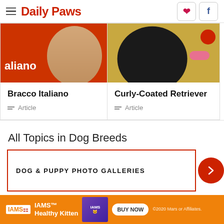Daily Paws
[Figure (photo): Bracco Italiano dog photo on red background with 'aliano' text overlay]
Bracco Italiano
Article
[Figure (photo): Curly-Coated Retriever dog photo on yellow/tan background]
Curly-Coated Retriever
Article
All Topics in Dog Breeds
DOG & PUPPY PHOTO GALLERIES
[Figure (photo): IAMS Healthy Kitten advertisement banner with orange background, cat image, and BUY NOW button]